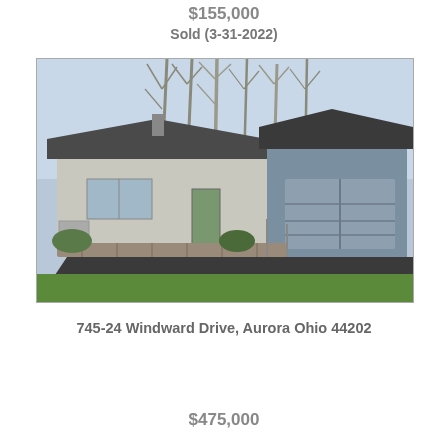$155,000
Sold (3-31-2022)
[Figure (photo): Exterior photo of a single-story residential home with attached blue metal garage, asphalt driveway, stone landscaping, and bare winter trees in background. Green grass lawn in foreground.]
745-24 Windward Drive, Aurora Ohio 44202
$475,000